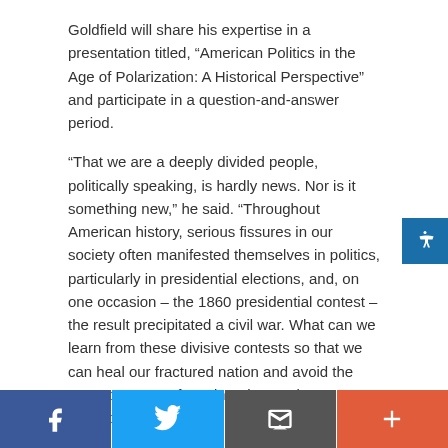Goldfield will share his expertise in a presentation titled, “American Politics in the Age of Polarization: A Historical Perspective” and participate in a question-and-answer period.
“That we are a deeply divided people, politically speaking, is hardly news. Nor is it something new,” he said. “Throughout American history, serious fissures in our society often manifested themselves in politics, particularly in presidential elections, and, on one occasion – the 1860 presidential contest – the result precipitated a civil war. What can we learn from these divisive contests so that we can heal our fractured nation and avoid the consequences of continued mutual alienation?”
James L. “Skip” Rutherford, dean of the University of
[Figure (other): Social sharing bar with Facebook, Twitter, Email, and plus (+) buttons]